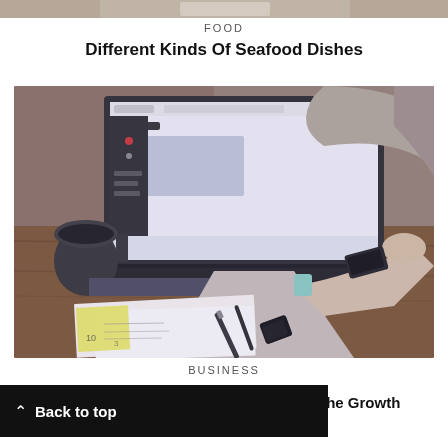[Figure (photo): Cropped top portion of a seafood-related photo (partial, cut off at top of page)]
FOOD
Different Kinds Of Seafood Dishes
[Figure (photo): Woman working on a laptop at a wooden desk with a mug, notebook, sticky notes, pens, and documents scattered around]
BUSINESS
W Back to top ription Is Essential For The Growth Of Your Startup?